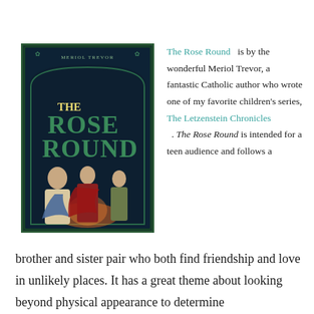[Figure (illustration): Book cover of 'The Rose Round' by Meriol Trevor. Shows three figures — a man holding a blue cloth, a woman in red, and a boy — gathered around a fire. The cover has a dark blue arched framing with gold/green ornamental text. The title reads 'The Rose Round' in large green letters, with 'Meriol Trevor' at the top.]
The Rose Round is by the wonderful Meriol Trevor, a fantastic Catholic author who wrote one of my favorite children's series, The Letzenstein Chronicles. The Rose Round is intended for a teen audience and follows a brother and sister pair who both find friendship and love in unlikely places. It has a great theme about looking beyond physical appearance to determine